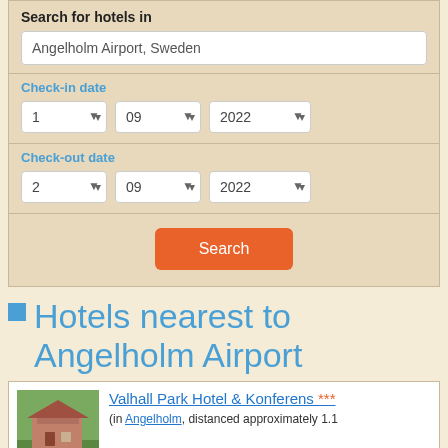Search for hotels in
Angelholm Airport, Sweden
Check-in date
1  09  2022
Check-out date
2  09  2022
Search
Hotels nearest to Angelholm Airport
Valhall Park Hotel & Konferens *** (in Angelholm, distanced approximately 1.1